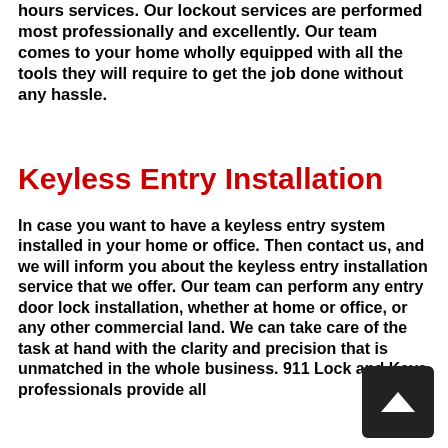hours services. Our lockout services are performed most professionally and excellently. Our team comes to your home wholly equipped with all the tools they will require to get the job done without any hassle.
Keyless Entry Installation
In case you want to have a keyless entry system installed in your home or office. Then contact us, and we will inform you about the keyless entry installation service that we offer. Our team can perform any entry door lock installation, whether at home or office, or any other commercial land. We can take care of the task at hand with the clarity and precision that is unmatched in the whole business. 911 Lock and Keys professionals provide all